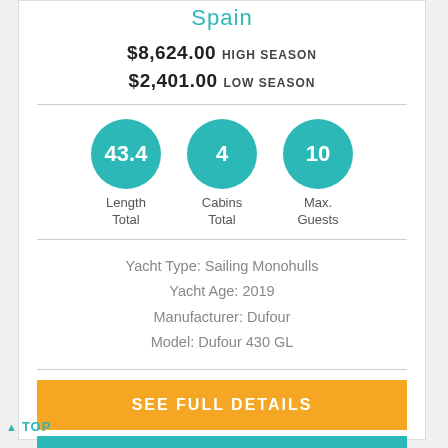Spain
$8,624.00 HIGH SEASON
$2,401.00 LOW SEASON
[Figure (infographic): Three teal circles showing stats: 43.4 (Length Total), 4 (Cabins Total), 10 (Max. Guests)]
Yacht Type: Sailing Monohulls
Yacht Age: 2019
Manufacturer: Dufour
Model: Dufour 430 GL
SEE FULL DETAILS
COMPARE
▲ TOP